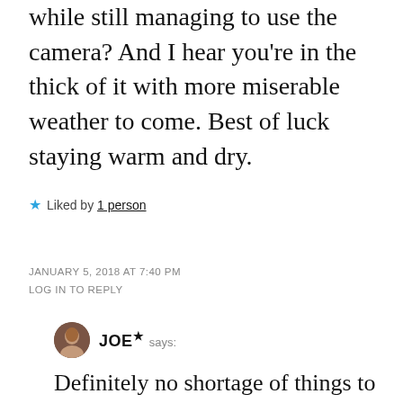while still managing to use the camera? And I hear you're in the thick of it with more miserable weather to come. Best of luck staying warm and dry.
★ Liked by 1person
JANUARY 5, 2018 AT 7:40 PM
LOG IN TO REPLY
JOE★ says:
Definitely no shortage of things to do in NYC Alys 😀 I was wearing